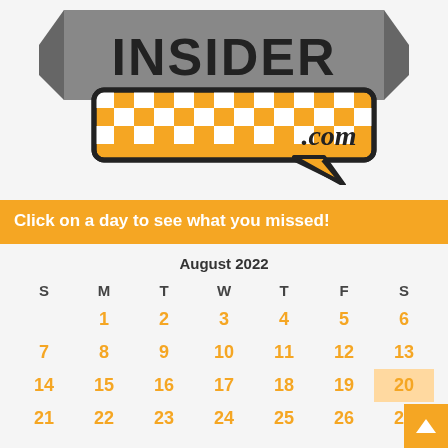[Figure (logo): NASCAR Insider .com logo with checkered flag speech bubble and banner ribbon in gray and orange]
Click on a day to see what you missed!
| S | M | T | W | T | F | S |
| --- | --- | --- | --- | --- | --- | --- |
|  | 1 | 2 | 3 | 4 | 5 | 6 |
| 7 | 8 | 9 | 10 | 11 | 12 | 13 |
| 14 | 15 | 16 | 17 | 18 | 19 | 20 |
| 21 | 22 | 23 | 24 | 25 | 26 | 27 |